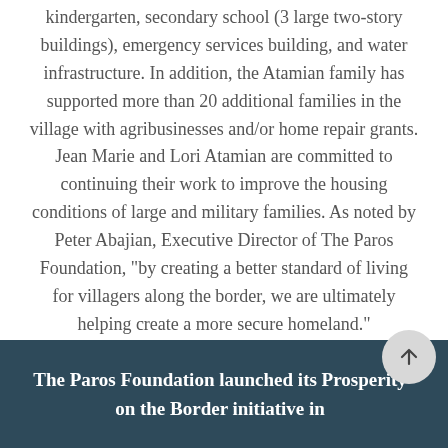kindergarten, secondary school (3 large two-story buildings), emergency services building, and water infrastructure. In addition, the Atamian family has supported more than 20 additional families in the village with agribusinesses and/or home repair grants. Jean Marie and Lori Atamian are committed to continuing their work to improve the housing conditions of large and military families. As noted by Peter Abajian, Executive Director of The Paros Foundation, "by creating a better standard of living for villagers along the border, we are ultimately helping create a more secure homeland."
The Paros Foundation launched its Prosperity on the Border initiative in